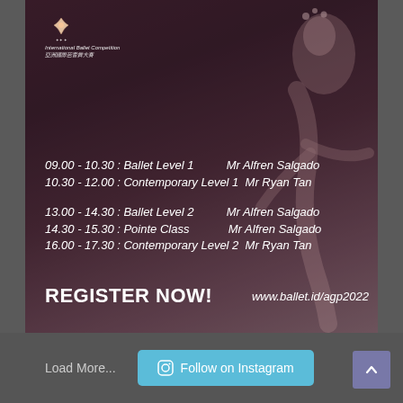[Figure (photo): Ballet dancer photo with dark reddish-purple overlay, showing a young ballet dancer with flowers in hair, profile view. Contains schedule text and registration info overlay.]
International Ballet Competition
亞洲國際芭蕾舞大賽
09.00 - 10.30 : Ballet Level 1    Mr Alfren Salgado
10.30 - 12.00 : Contemporary Level 1    Mr Ryan Tan
13.00 - 14.30 : Ballet Level 2    Mr Alfren Salgado
14.30 - 15.30 : Pointe Class    Mr Alfren Salgado
16.00 - 17.30 : Contemporary Level 2    Mr Ryan Tan
REGISTER NOW!    www.ballet.id/agp2022
Load More...
Follow on Instagram